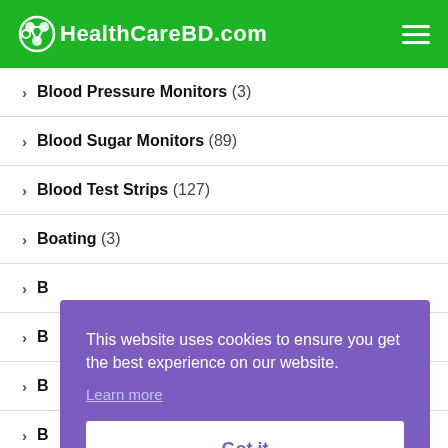HealthCareBD.com
Blood Pressure Monitors (3)
Blood Sugar Monitors (89)
Blood Test Strips (127)
Boating (3)
B
B
B
B
B
Body Wash (29)
This website uses cookies to ensure you get the best experience on our website.
Learn more
Got it